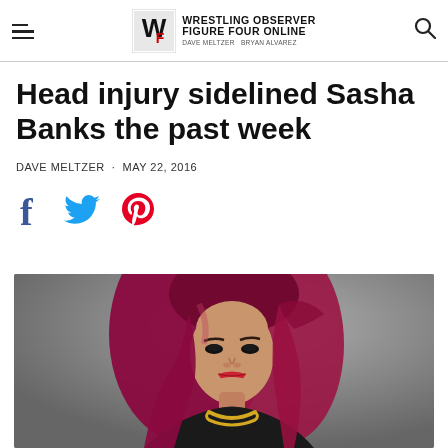Wrestling Observer Figure Four Online — DAVE MELTZER · BRYAN ALVAREZ
Head injury sidelined Sasha Banks the past week
DAVE MELTZER · MAY 22, 2016
[Figure (other): Social sharing icons: Facebook, Twitter, Pinterest]
[Figure (photo): Promotional photo of Sasha Banks with dark red/magenta hair, wearing a gold chain necklace, against a grey background]